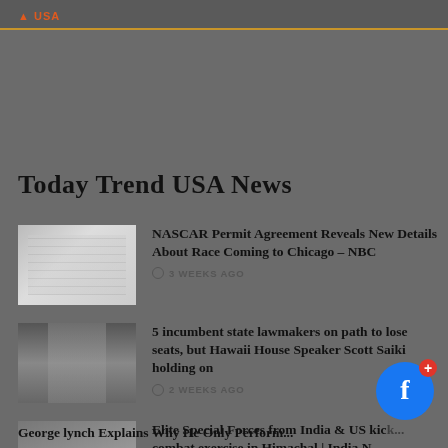Today Trend USA News - header bar
Today Trend USA News
NASCAR Permit Agreement Reveals New Details About Race Coming to Chicago – NBC · 3 WEEKS AGO
5 incumbent state lawmakers on path to lose seats, but Hawaii House Speaker Scott Saiki holding on · 2 WEEKS AGO
Elite Special Forces from India & US kic... combat exercise in Himachal | India N... · 3 WEEKS AGO
George lynch Explains Why He Only Perform...